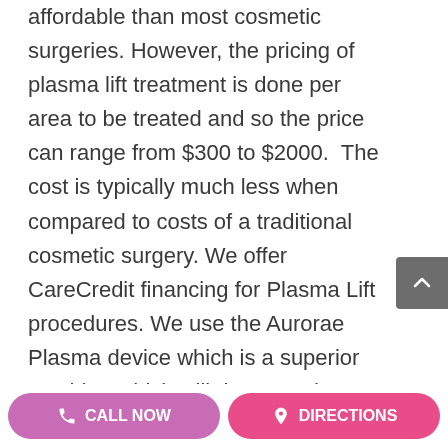affordable than most cosmetic surgeries. However, the pricing of plasma lift treatment is done per area to be treated and so the price can range from $300 to $2000.  The cost is typically much less when compared to costs of a traditional cosmetic surgery. We offer CareCredit financing for Plasma Lift procedures. We use the Aurorae Plasma device which is a superior machine which will do many dots at one time and it has different bells & whistles.
PLASMA LIFT / FIBROBLASTY PRICES
:: WE OFFER A SIGNIFICANT DISCOUNT WHEN MORE THAN ONE AREA IS
CALL NOW   DIRECTIONS